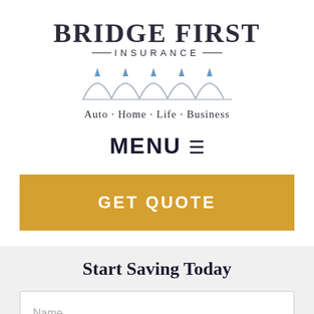[Figure (logo): Bridge First Insurance logo with arch/bridge graphic motif in grey and blue, with tagline 'Auto · Home · Life · Business']
MENU ☰
GET QUOTE
Start Saving Today
Name